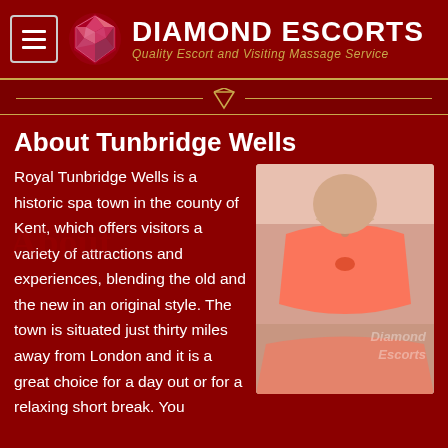Diamond Escorts — Quality Escort and Visiting Massage Service
About Tunbridge Wells
Royal Tunbridge Wells is a historic spa town in the county of Kent, which offers visitors a variety of attractions and experiences, blending the old and the new in an original style. The town is situated just thirty miles away from London and it is a great choice for a day out or for a relaxing short break. You
[Figure (photo): Photo of a woman wearing a pink/coral bra, with a Diamond Escorts watermark overlay]